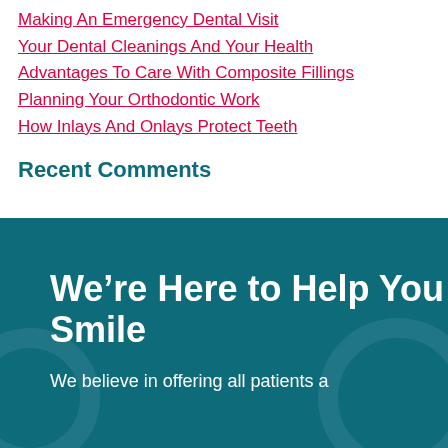Making An Emergency Dental Visit
Your Dental Cleanings And Your Health
Advantages To Care With Composite Fillings
Planning Your Orthodontic Work
How Inlays And Onlays Protect Teeth
Recent Comments
We’re Here to Help You Smile
We believe in offering all patients a